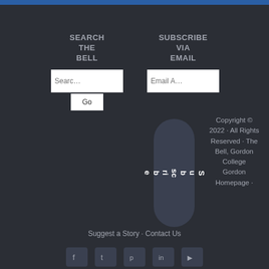SEARCH THE BELL
SUBSCRIBE VIA EMAIL
Copyright © 2022 · All Rights Reserved · The Bell, Gordon College Gordon Homepage ·
Suggest a Story · Contact Us